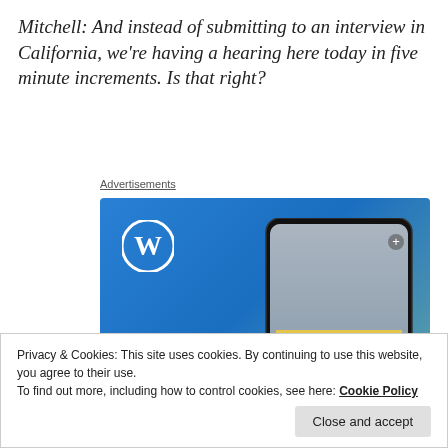Mitchell: And instead of submitting to an interview in California, we're having a hearing here today in five minute increments. Is that right?
Advertisements
[Figure (illustration): WordPress advertisement showing blue gradient background with WordPress logo (W in circle), white bold text reading 'Create immersive stories.' on the left, and a smartphone mockup on the right displaying a waterfall scene with 'VISITING SKOGAFOSS' label overlay.]
Privacy & Cookies: This site uses cookies. By continuing to use this website, you agree to their use.
To find out more, including how to control cookies, see here: Cookie Policy
Close and accept